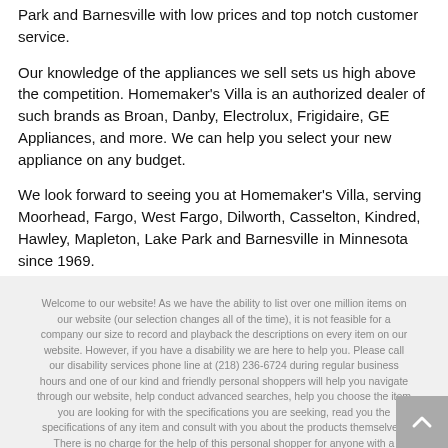Park and Barnesville with low prices and top notch customer service.
Our knowledge of the appliances we sell sets us high above the competition. Homemaker's Villa is an authorized dealer of such brands as Broan, Danby, Electrolux, Frigidaire, GE Appliances, and more. We can help you select your new appliance on any budget.
We look forward to seeing you at Homemaker's Villa, serving Moorhead, Fargo, West Fargo, Dilworth, Casselton, Kindred, Hawley, Mapleton, Lake Park and Barnesville in Minnesota since 1969.
Welcome to our website! As we have the ability to list over one million items on our website (our selection changes all of the time), it is not feasible for a company our size to record and playback the descriptions on every item on our website. However, if you have a disability we are here to help you. Please call our disability services phone line at (218) 236-6724 during regular business hours and one of our kind and friendly personal shoppers will help you navigate through our website, help conduct advanced searches, help you choose the item you are looking for with the specifications you are seeking, read you the specifications of any item and consult with you about the products themselves. There is no charge for the help of this personal shopper for anyone with a disability. Finally, your personal shopper will explain our Privacy Policy and Terms of Service, and help you place an order if you so desire.